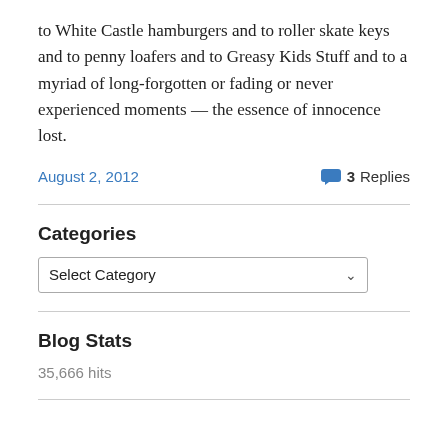to White Castle hamburgers and to roller skate keys and to penny loafers and to Greasy Kids Stuff and to a myriad of long-forgotten or fading or never experienced moments — the essence of innocence lost.
August 2, 2012   3 Replies
Categories
Select Category
Blog Stats
35,666 hits